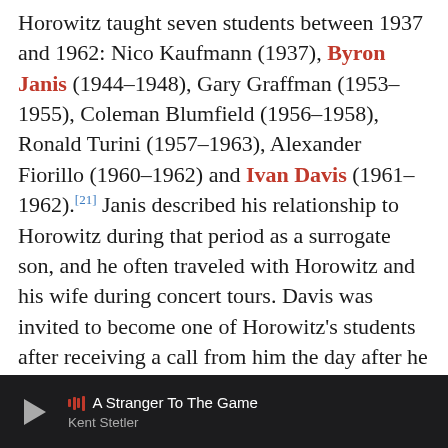Horowitz taught seven students between 1937 and 1962: Nico Kaufmann (1937), Byron Janis (1944–1948), Gary Graffman (1953–1955), Coleman Blumfield (1956–1958), Ronald Turini (1957–1963), Alexander Fiorillo (1960–1962) and Ivan Davis (1961–1962).[21] Janis described his relationship to Horowitz during that period as a surrogate son, and he often traveled with Horowitz and his wife during concert tours. Davis was invited to become one of Horowitz's students after receiving a call from him the day after he won the Franz Liszt Competition.[22] At the time, Davis had a contract with Columbia Records and a national tour planned.[22] Horowitz claimed that he had only taught three students during that period. "Many young people say they have been pupils of Horowitz, but there were only three. Janis, Turini, who I brought to the stage, and Graffman. If someone else claims it, it's not true. I had some who played for me for four months. Once a week. I stopped work with them, because they
A Stranger To The Game — Kent Stetler